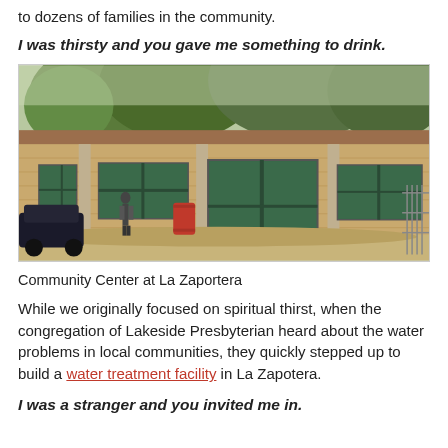to dozens of families in the community.
I was thirsty and you gave me something to drink.
[Figure (photo): Photo of a brick community center building under construction at La Zaportera, with green-framed windows and doors, a red barrel, a person walking by, and trees in the background.]
Community Center at La Zaportera
While we originally focused on spiritual thirst, when the congregation of Lakeside Presbyterian heard about the water problems in local communities, they quickly stepped up to build a water treatment facility in La Zapotera.
I was a stranger and you invited me in.